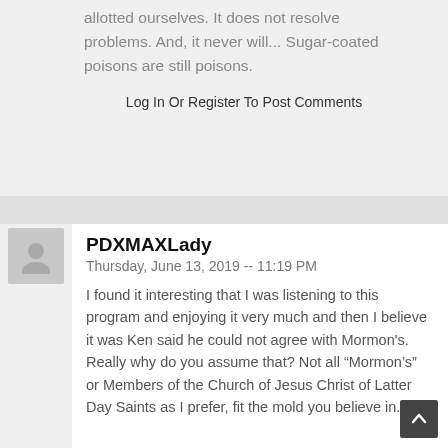allotted ourselves. It does not resolve problems. And, it never will... Sugar-coated poisons are still poisons.
Log In Or Register To Post Comments
PDXMAXLady
Thursday, June 13, 2019 -- 11:19 PM
I found it interesting that I was listening to this program and enjoying it very much and then I believe it was Ken said he could not agree with Mormon's. Really why do you assume that? Not all “Mormon’s” or Members of the Church of Jesus Christ of Latter Day Saints as I prefer, fit the mold you believe in...